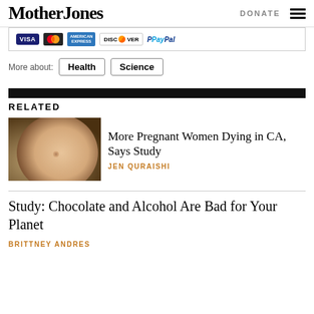Mother Jones  DONATE
[Figure (other): Payment method logos: VISA, MasterCard, American Express, Discover, PayPal]
More about:  Health  Science
RELATED
[Figure (photo): Close-up photo of a pregnant woman's bare belly]
More Pregnant Women Dying in CA, Says Study
JEN QURAISHI
Study: Chocolate and Alcohol Are Bad for Your Planet
BRITTNEY ANDRES